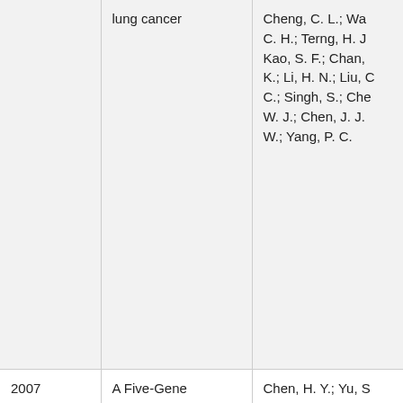| Year | Title | Authors |
| --- | --- | --- |
|  | lung cancer | Cheng, C. L.; Wa C. H.; Terng, H. J Kao, S. F.; Chan, K.; Li, H. N.; Liu, C C.; Singh, S.; Che W. J.; Chen, J. J. W.; Yang, P. C. |
| 2007 | A Five-Gene Signature and Clinical Outcome in Non–Small-Cell Lung Cancer | Chen, H. Y.; Yu, S L.; Chen, C. H.; Chang, G. C.; Che C. Y.; Yuan, A.; Cheng, C. L.; Wa C. H.; Terng, H. J Kao, S. F.; Chen, J.; Chen, J. J. W.; Yang, P. C. |
| 2006 | A new tumor suppressor DnaJ- | Tsai, M. F.; Wang C. C.; Chang, G. C |